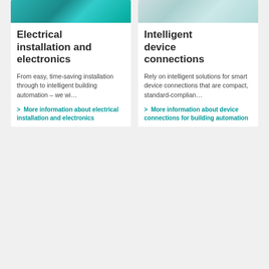[Figure (photo): Photo of a person working on electrical installation/electronics panel]
Electrical installation and electronics
From easy, time-saving installation through to intelligent building automation – we wi…
> More information about electrical installation and electronics
[Figure (photo): Photo of a person working with small electronic device components on a table]
Intelligent device connections
Rely on intelligent solutions for smart device connections that are compact, standard-complian…
> More information about device connections for building automation